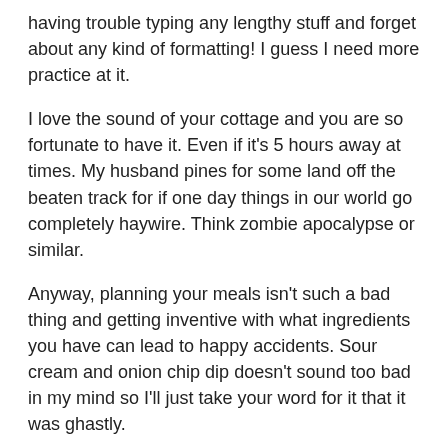having trouble typing any lengthy stuff and forget about any kind of formatting! I guess I need more practice at it.
I love the sound of your cottage and you are so fortunate to have it. Even if it's 5 hours away at times. My husband pines for some land off the beaten track for if one day things in our world go completely haywire. Think zombie apocalypse or similar.
Anyway, planning your meals isn't such a bad thing and getting inventive with what ingredients you have can lead to happy accidents. Sour cream and onion chip dip doesn't sound too bad in my mind so I'll just take your word for it that it was ghastly.